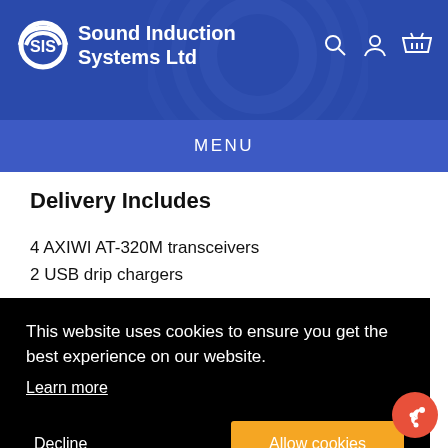Sound Induction Systems Ltd
MENU
Delivery Includes
4 AXIWI AT-320M transceivers
2 USB drip chargers
This website uses cookies to ensure you get the best experience on our website. Learn more
Decline   Allow cookies
Weight: 30 grams (incl. battery)